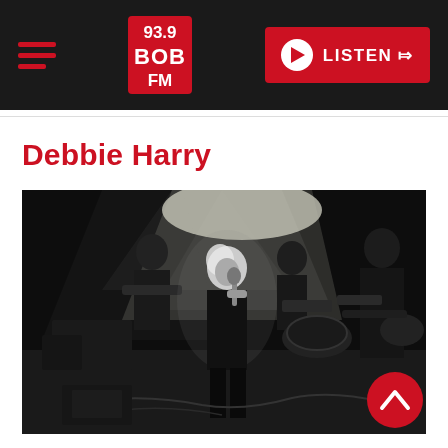93.9 BOB FM — LISTEN
Debbie Harry
[Figure (photo): Black and white concert photo of Blondie performing on stage. A blonde female singer (Debbie Harry) stands center stage holding a microphone, wearing a dark outfit. Band members with guitars are visible in the background along with stage lighting and equipment.]